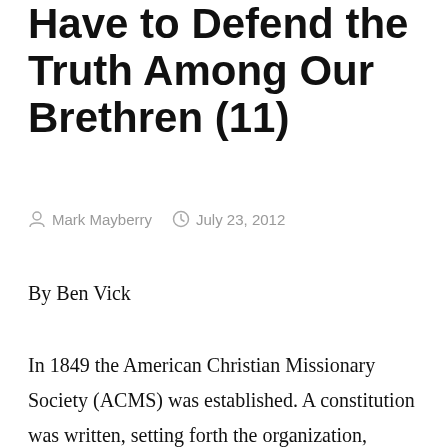Have to Defend the Truth Among Our Brethren (11)
Mark Mayberry   July 23, 2012
By Ben Vick
In 1849 the American Christian Missionary Society (ACMS) was established. A constitution was written, setting forth the organization, objectives, and purposes of the